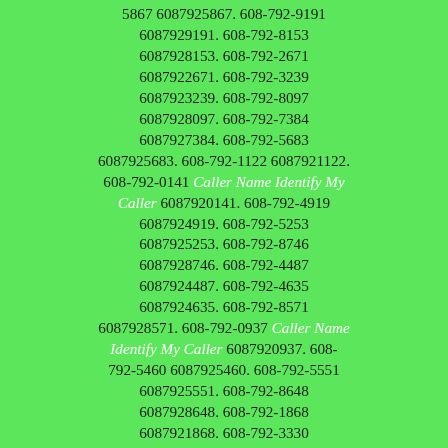6087929999. 608-792-9311 6087929311. 608-792-8788 6087928788. 608-792-5867 6087925867. 608-792-9191 6087929191. 608-792-8153 6087928153. 608-792-2671 6087922671. 608-792-3239 6087923239. 608-792-8097 6087928097. 608-792-7384 6087927384. 608-792-5683 6087925683. 608-792-1122 6087921122. 608-792-0141 Caller Name Identify My Caller 6087920141. 608-792-4919 6087924919. 608-792-5253 6087925253. 608-792-8746 6087928746. 608-792-4487 6087924487. 608-792-4635 6087924635. 608-792-8571 6087928571. 608-792-0937 Caller Name Identify My Caller 6087920937. 608-792-5460 6087925460. 608-792-5551 6087925551. 608-792-8648 6087928648. 608-792-1868 6087921868. 608-792-3330 6087923330. 608-792-2195 6087922195. 608-792-4372